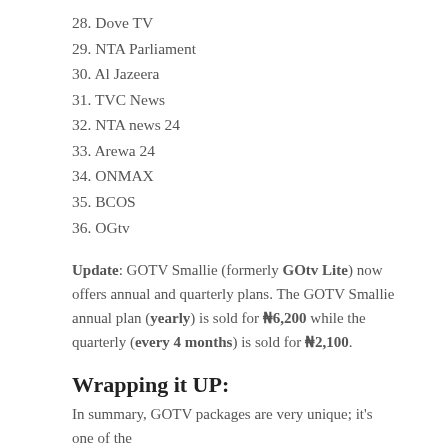28. Dove TV
29. NTA Parliament
30. Al Jazeera
31. TVC News
32. NTA news 24
33. Arewa 24
34. ONMAX
35. BCOS
36. OGtv
Update: GOTV Smallie (formerly GOtv Lite) now offers annual and quarterly plans. The GOTV Smallie annual plan (yearly) is sold for ₦6,200 while the quarterly (every 4 months) is sold for ₦2,100.
Wrapping it UP:
In summary, GOTV packages are very unique; it's one of the